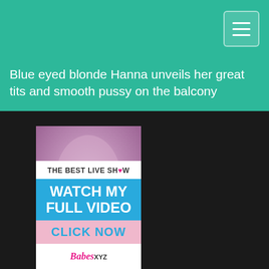Blue eyed blonde Hanna unveils her great tits and smooth pussy on the balcony
[Figure (photo): Adult content website screenshot showing navigation menu button in top right, page title on teal/green header, and a photo with an advertisement banner overlay]
THE BEST LIVE SHOW WATCH MY FULL VIDEO CLICK NOW Babes xyz